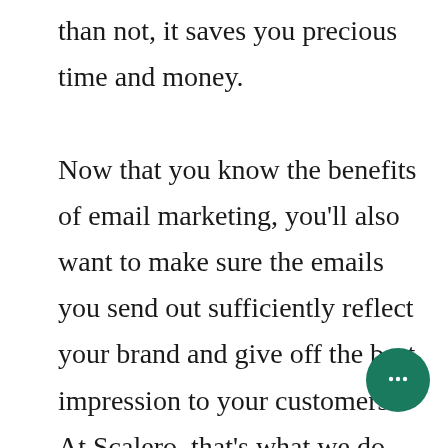than not, it saves you precious time and money.

Now that you know the benefits of email marketing, you'll also want to make sure the emails you send out sufficiently reflect your brand and give off the best impression to your customers. At Scalero, that's what we do best. Our team can help you by creating custom email templates to enhance your email communication and keep your customers loyal and happy. Contact us here
[Figure (other): Teal circular chat/messaging button with ellipsis icon in bottom right corner]